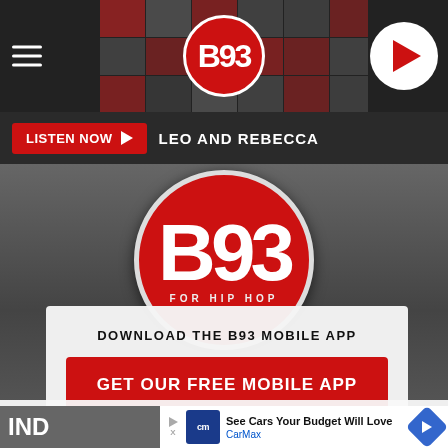[Figure (screenshot): B93 radio station website screenshot showing navigation bar with hamburger menu, B93 logo, and play button]
LISTEN NOW  LEO AND REBECCA
[Figure (logo): B93 FOR HIP HOP circular logo in red and white]
DOWNLOAD THE B93 MOBILE APP
GET OUR FREE MOBILE APP
Also listen on:  amazon alexa
IND
See Cars Your Budget Will Love  CarMax